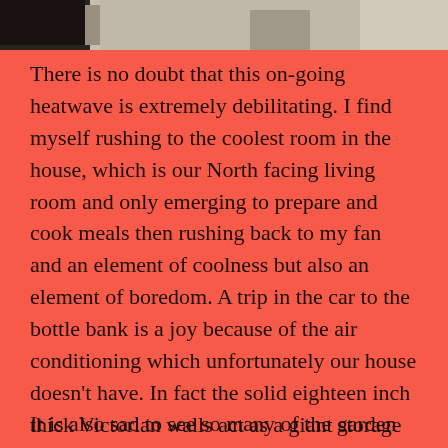[Figure (photo): Partial photograph visible at the top of the page, showing two figures against a stone or wall background.]
There is no doubt that this on-going heatwave is extremely debilitating. I find myself rushing to the coolest room in the house, which is our North facing living room and only emerging to prepare and cook meals then rushing back to my fan and an element of coolness but also an element of boredom. A trip in the car to the bottle bank is a joy because of the air conditioning which unfortunately our house doesn't have. In fact the solid eighteen inch thick Victorian walls act as a giant storage heater.
It is also sad to see so many of the garden plants drying off whilst the garden is suitable